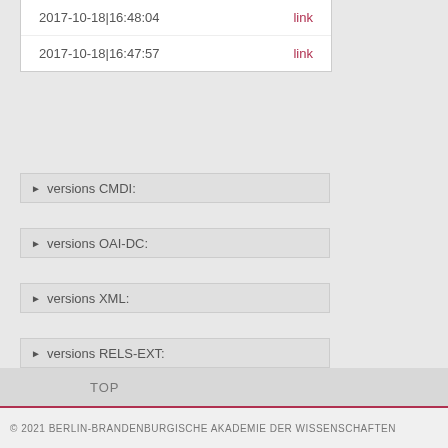| Date | Link |
| --- | --- |
| 2017-10-18|16:48:04 | link |
| 2017-10-18|16:47:57 | link |
▶ versions CMDI:
▶ versions OAI-DC:
▶ versions XML:
▶ versions RELS-EXT:
Uploaded on Oct 18, 2017; last modified Mar 04, 2020 (2 years ago). Terms of Use.
TOP
© 2021 BERLIN-BRANDENBURGISCHE AKADEMIE DER WISSENSCHAFTEN